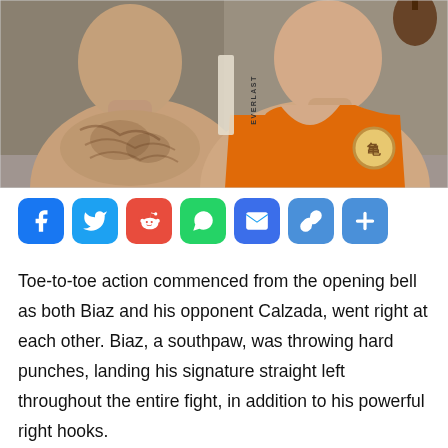[Figure (photo): Two men posing in a boxing gym. Left man is shirtless with visible tattoos on his chest. Right man wears an orange tank top with a martial arts/Dragon Ball style logo on the chest. An Everlast banner is visible in the background.]
[Figure (infographic): Social media share buttons row: Facebook (blue), Twitter (blue), Reddit (orange-red), WhatsApp (green), Email (blue), Link (blue), More/Plus (blue)]
Toe-to-toe action commenced from the opening bell as both Biaz and his opponent Calzada, went right at each other. Biaz, a southpaw, was throwing hard punches, landing his signature straight left throughout the entire fight, in addition to his powerful right hooks.